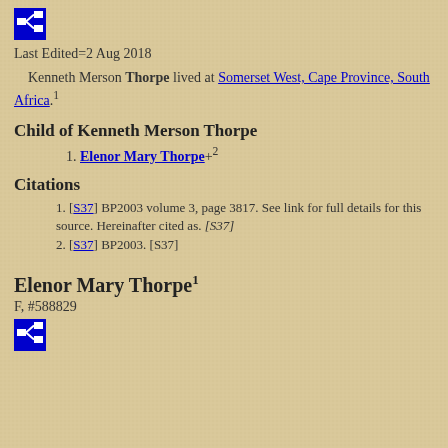[Figure (logo): Blue icon with family tree / network symbol]
Last Edited=2 Aug 2018
Kenneth Merson Thorpe lived at Somerset West, Cape Province, South Africa.1
Child of Kenneth Merson Thorpe
1. Elenor Mary Thorpe+2
Citations
1. [S37] BP2003 volume 3, page 3817. See link for full details for this source. Hereinafter cited as. [S37]
2. [S37] BP2003. [S37]
Elenor Mary Thorpe1
F, #588829
[Figure (logo): Blue icon with family tree / network symbol]